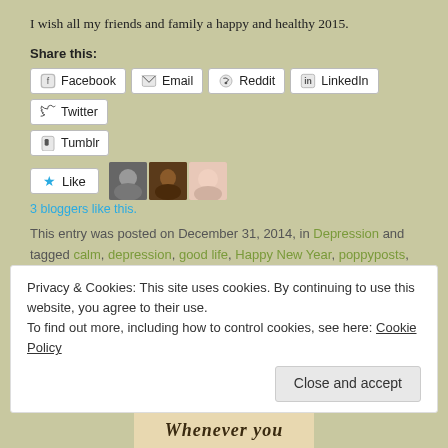I wish all my friends and family a happy and healthy 2015.
Share this:
[Figure (other): Share buttons: Facebook, Email, Reddit, LinkedIn, Twitter, Tumblr]
[Figure (other): Like button with star icon and 3 blogger avatars]
3 bloggers like this.
This entry was posted on December 31, 2014, in Depression and tagged calm, depression, good life, Happy New Year, poppyposts, resolutions, swim.
1 Comment
Privacy & Cookies: This site uses cookies. By continuing to use this website, you agree to their use.
To find out more, including how to control cookies, see here: Cookie Policy
[Figure (other): Partial image at bottom with decorative italic text starting with 'Whenever you']